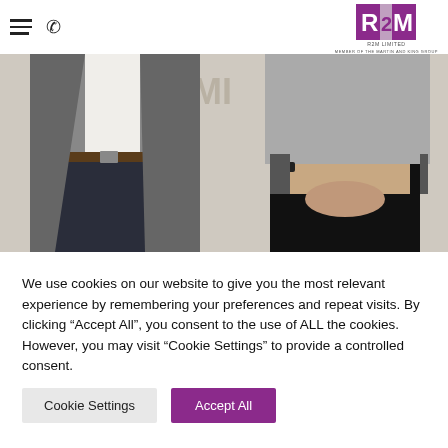R2M LIMITED navigation header with hamburger menu, phone icon, and R2M logo
[Figure (photo): Two people (a man in a grey blazer and dark trousers on the left, and a woman in a grey cardigan and black trousers on the right) standing against a white wall with 'M LIMI' letters visible in the background.]
We use cookies on our website to give you the most relevant experience by remembering your preferences and repeat visits. By clicking "Accept All", you consent to the use of ALL the cookies. However, you may visit "Cookie Settings" to provide a controlled consent.
Cookie Settings
Accept All